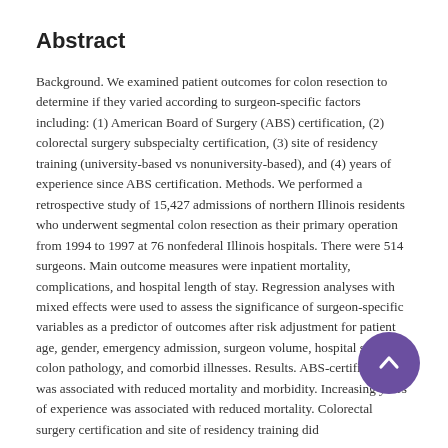Abstract
Background. We examined patient outcomes for colon resection to determine if they varied according to surgeon-specific factors including: (1) American Board of Surgery (ABS) certification, (2) colorectal surgery subspecialty certification, (3) site of residency training (university-based vs nonuniversity-based), and (4) years of experience since ABS certification. Methods. We performed a retrospective study of 15,427 admissions of northern Illinois residents who underwent segmental colon resection as their primary operation from 1994 to 1997 at 76 nonfederal Illinois hospitals. There were 514 surgeons. Main outcome measures were inpatient mortality, complications, and hospital length of stay. Regression analyses with mixed effects were used to assess the significance of surgeon-specific variables as a predictor of outcomes after risk adjustment for patient age, gender, emergency admission, surgeon volume, hospital site, colon pathology, and comorbid illnesses. Results. ABS-certification was associated with reduced mortality and morbidity. Increasing years of experience was associated with reduced mortality. Colorectal surgery certification and site of residency training did not significantly affect outcomes. Conclusion. We found that...